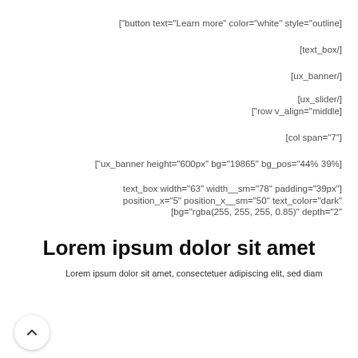["button text="Learn more" color="white" style="outline]
[text_box/]
[ux_banner/]
[ux_slider/]
["row v_align="middle]
[col span="7"]
["ux_banner height="600px" bg="19865" bg_pos="44% 39%]
text_box width="63" width__sm="78" padding="39px"]
position_x="5" position_x__sm="50" text_color="dark"
[bg="rgba(255, 255, 255, 0.85)" depth="2"
Lorem ipsum dolor sit amet
Lorem ipsum dolor sit amet, consectetuer adipiscing elit, sed diam